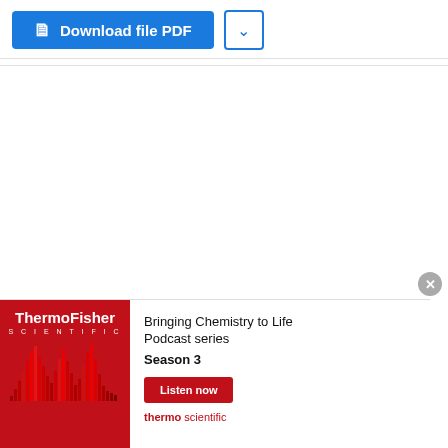[Figure (screenshot): Blue 'Download file PDF' button with document icon, and a blue-outlined dropdown chevron button]
Actual riskfree rate = 0.05%
Use floor riskfree rate     =  1.00%
Actual GSPC return  =  18.35%
3477.139892578125 2938.1298828125
Use actual S&P500 rate      =  18.35%
Actual RUT return   =  10.25%
1637.550048828125 1485.0819530488(...)
Use actual Russell 2000 rate     =  10.25%
[Figure (screenshot): ThermoFisher Scientific advertisement banner: 'Bringing Chemistry to Life Podcast series Season 3' with Listen now button and thermo scientific branding]